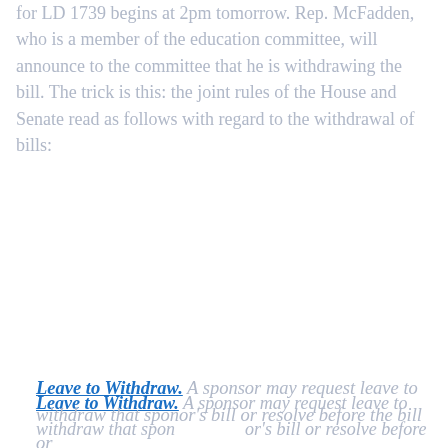for LD 1739 begins at 2pm tomorrow. Rep. McFadden, who is a member of the education committee, will announce to the committee that he is withdrawing the bill. The trick is this: the joint rules of the House and Senate read as follows with regard to the withdrawal of bills:
Leave to Withdraw. A sponsor may request leave to withdraw that sponsor's bill or resolve before the bill or resolve is advertised for a public hearing. The request may be granted only by the agreement of both chairs of the joint standing committee to which the bill or resolve was referred. Wh... request for leave to...